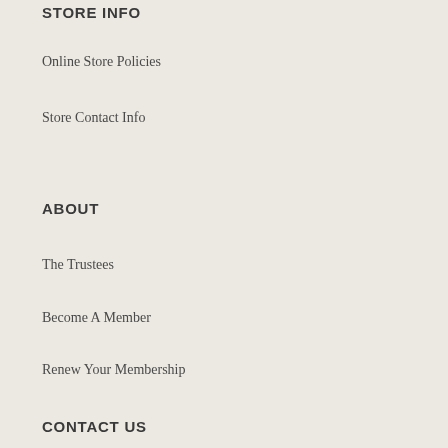STORE INFO
Online Store Policies
Store Contact Info
ABOUT
The Trustees
Become A Member
Renew Your Membership
CONTACT US